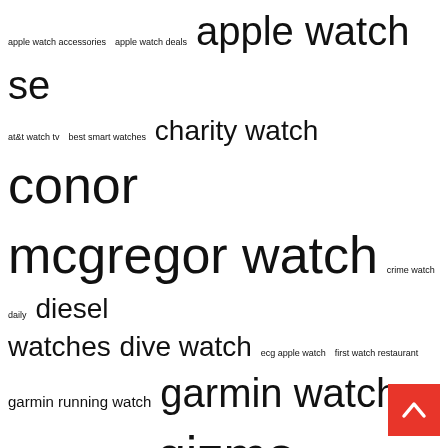apple watch accessories  apple watch deals  apple watch se  at&t watch tv  best smart watches  charity watch  conor mcgregor watch  crime watch daily  diesel watches  dive watch  ecg apple watch  first watch restaurant  garmin running watch  garmin watch womens  gizmo watch  gshock watches  gucci watch men  guess watches  just watch  latest apple watch  macys mens watches  samsung galaxy watch  samsung watch active  seiko watches  somebody's watching me  sport watch  suunto watches  swatch watch  swiss army watch  third watch  unpair apple watch  watch anime free  watch box  watched  watches for men  watch espn  watch fox sports  watch free movies  watch superbowl online  watch tv  watch xfinity
[Figure (other): Back to top button (red square with white upward chevron)]